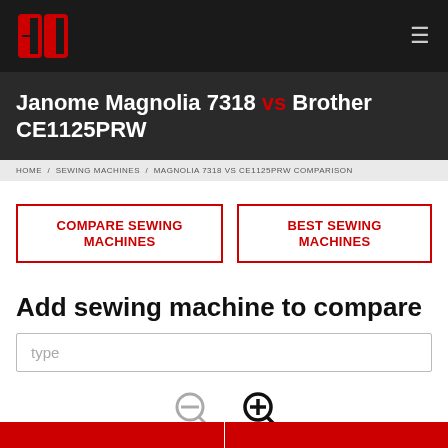CP logo | hamburger menu
Janome Magnolia 7318 vs Brother CE1125PRW
HOME / SEWING MACHINES / MAGNOLIA 7318 VS CE1125PRW COMPARISON
COMPARE SEWING MACHINES
BEST SEWING MACHINES
Add sewing machine to compare
type
[Figure (other): Zoom out and zoom in magnifier icons]
[Figure (other): Bottom strip showing partial product images split by red divider]